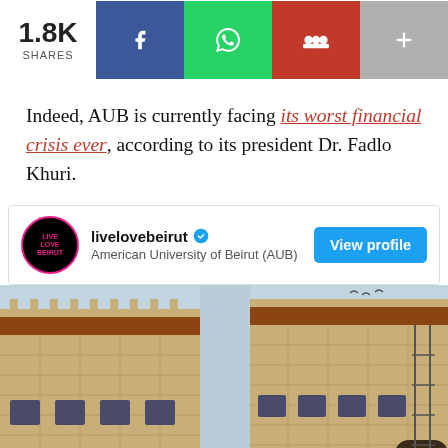[Figure (infographic): Social share bar with 1.8K shares count, Facebook (blue), WhatsApp (green), group/users (red), and plus (gray) share buttons]
Indeed, AUB is currently facing its worst financial crisis ever, according to its president Dr. Fadlo Khuri.
[Figure (infographic): livelovebeirut verified profile card for American University of Beirut (AUB) with View profile button]
[Figure (photo): Photograph of stone building rooftop at American University of Beirut campus with blue sky background]